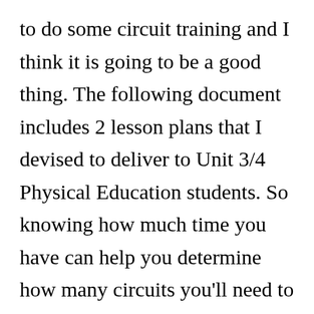to do some circuit training and I think it is going to be a good thing. The following document includes 2 lesson plans that I devised to deliver to Unit 3/4 Physical Education students. So knowing how much time you have can help you determine how many circuits you'll need to complete and how hard you'll need to work. Lesson Plan: Electric Circuits (~130 minutes) Concepts 1. The New 2014 PE National Curriculum: Assessment Without... Assessment without